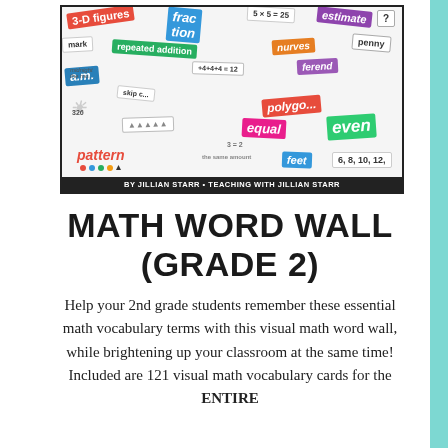[Figure (photo): A colorful collage of math vocabulary word wall cards showing terms like fraction, 3-D figures, a.m., pattern, equal, even, estimate, polygon, repeated addition, nurves, penny, feet, and more. Bottom bar reads: BY JILLIAN STARR • TEACHING WITH JILLIAN STARR]
MATH WORD WALL (GRADE 2)
Help your 2nd grade students remember these essential math vocabulary terms with this visual math word wall, while brightening up your classroom at the same time! Included are 121 visual math vocabulary cards for the ENTIRE